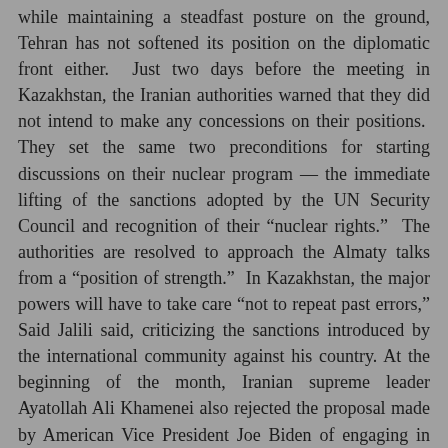while maintaining a steadfast posture on the ground, Tehran has not softened its position on the diplomatic front either.  Just two days before the meeting in Kazakhstan, the Iranian authorities warned that they did not intend to make any concessions on their positions.  They set the same two preconditions for starting discussions on their nuclear program — the immediate lifting of the sanctions adopted by the UN Security Council and recognition of their “nuclear rights.”  The authorities are resolved to approach the Almaty talks from a “position of strength.”  In Kazakhstan, the major powers will have to take care “not to repeat past errors,” Said Jalili said, criticizing the sanctions introduced by the international community against his country. At the beginning of the month, Iranian supreme leader Ayatollah Ali Khamenei also rejected the proposal made by American Vice President Joe Biden of engaging in bilateral negotiations….
There is a pattern to American diplomacy in which keeping adversaries at the table trumps the cost of doing so. In this case, Obama and Kerry are so determined to pursue a diplomatic path with Iran that they have failed to realize that previous incentives have retrenched Iranian behavior rather than resolved it. Iran can, at any time, resolve the crisis by fulfilling its commitments. The